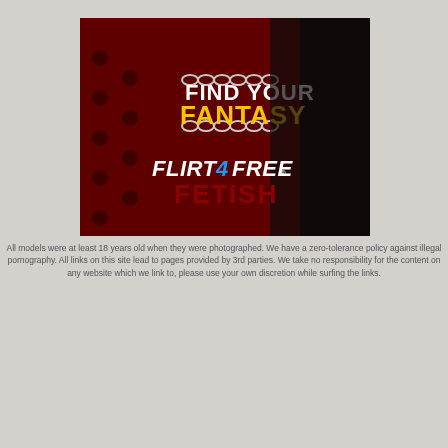[Figure (illustration): Advertisement banner for Flirt4Free Fetish. Dark red background with a woman wearing a black masquerade mask. Text reads 'FIND YOUR FANTASY' with chain link graphics. Logo shows 'FLIRT 4 FREE' with blue '4' and 'FETISH' in dark red below.]
All models were at least 18 years old when they were photographed. We have a zero-tolerance policy against illegal pornography. All links on this site lead to pages provided by 3rd parties. We take no responsibility for the content on any website which we link to, please use your own discretion while surfing the links.